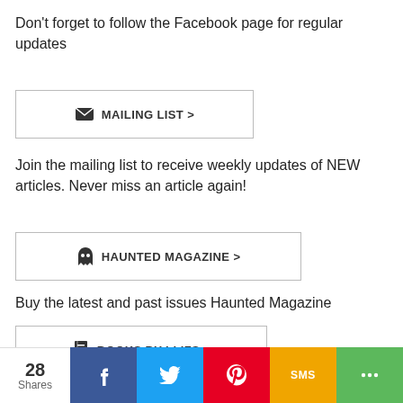Don't forget to follow the Facebook page for regular updates
[Figure (other): Mailing List button with envelope icon and text 'MAILING LIST >']
Join the mailing list to receive weekly updates of NEW articles.  Never miss an article again!
[Figure (other): Haunted Magazine button with ghost icon and text 'HAUNTED MAGAZINE >']
Buy the latest and past issues Haunted Magazine
[Figure (other): Books by LLIFS button with book icon and text 'BOOKS BY LLIFS >']
Check out the books written by LLIFS
[Figure (other): Social share bar with 28 Shares count, Facebook, Twitter, Pinterest, SMS, and More share buttons]